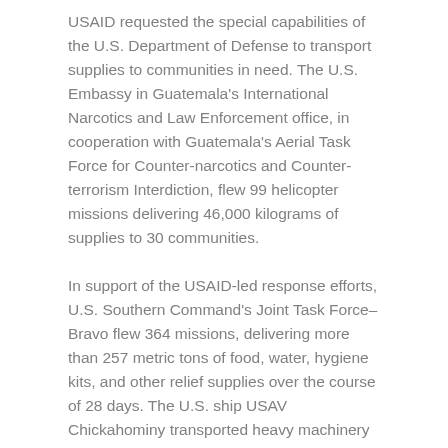USAID requested the special capabilities of the U.S. Department of Defense to transport supplies to communities in need. The U.S. Embassy in Guatemala's International Narcotics and Law Enforcement office, in cooperation with Guatemala's Aerial Task Force for Counter-narcotics and Counter-terrorism Interdiction, flew 99 helicopter missions delivering 46,000 kilograms of supplies to 30 communities.
In support of the USAID-led response efforts, U.S. Southern Command's Joint Task Force–Bravo flew 364 missions, delivering more than 257 metric tons of food, water, hygiene kits, and other relief supplies over the course of 28 days. The U.S. ship USAV Chickahominy transported heavy machinery provided by the government of Colombia to the hurricane-affected Colombian islands of Providencia and San Andrés.